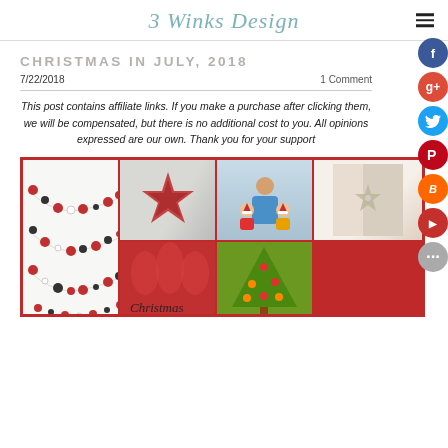3 Winks Design
CHRISTMAS IN JULY, 2018
7/22/2018   1 Comment
This post contains affiliate links.  If you make a purchase after clicking them, we will be compensated, but there is no additional cost to you.  All opinions expressed are our own.  Thank you for your support
[Figure (photo): Collage of Christmas in July themed photos: a paper star ornament, woman with two babies in Santa hats, a snowflake decoration, a red and black felt ball garland, a red Christmas ornament graphic with 'Christmas' text, and a vegetable Christmas tree.]